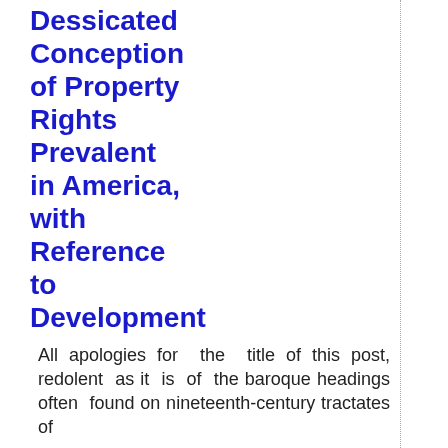Dessicated Conception of Property Rights Prevalent in America, with Reference to Development
All apologies for the title of this post, redolent as it is of the baroque headings often found on nineteenth-century tractates of